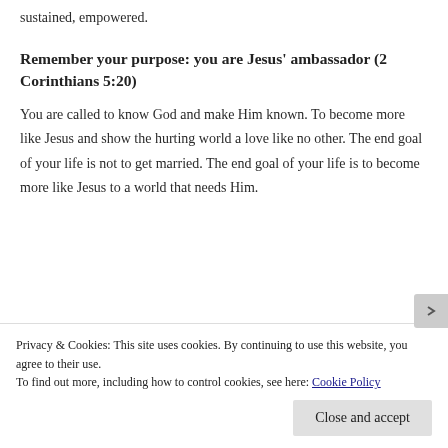sustained, empowered.
Remember your purpose: you are Jesus' ambassador (2 Corinthians 5:20)
You are called to know God and make Him known. To become more like Jesus and show the hurting world a love like no other. The end goal of your life is not to get married. The end goal of your life is to become more like Jesus to a world that needs Him.
Privacy & Cookies: This site uses cookies. By continuing to use this website, you agree to their use.
To find out more, including how to control cookies, see here: Cookie Policy